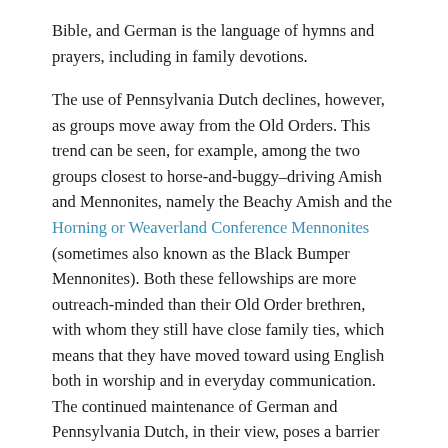Bible, and German is the language of hymns and prayers, including in family devotions.
The use of Pennsylvania Dutch declines, however, as groups move away from the Old Orders. This trend can be seen, for example, among the two groups closest to horse-and-buggy–driving Amish and Mennonites, namely the Beachy Amish and the Horning or Weaverland Conference Mennonites (sometimes also known as the Black Bumper Mennonites). Both these fellowships are more outreach-minded than their Old Order brethren, with whom they still have close family ties, which means that they have moved toward using English both in worship and in everyday communication. The continued maintenance of German and Pennsylvania Dutch, in their view, poses a barrier to outsiders to whom they might witness.
Below is an excerpt from an interview made in